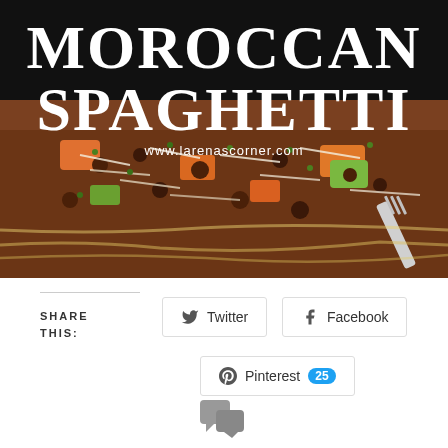[Figure (photo): Moroccan Spaghetti dish photo with text overlay 'MOROCCAN SPAGHETTI' and website www.larenascorner.com. Shows a close-up of spaghetti squash topped with Moroccan meat sauce, vegetables, shredded cheese, and cilantro with a fork visible.]
SHARE THIS:
[Figure (other): Twitter share button]
[Figure (other): Facebook share button]
[Figure (other): Pinterest share button with count badge 25]
[Figure (other): Comments icon (two speech bubbles)]